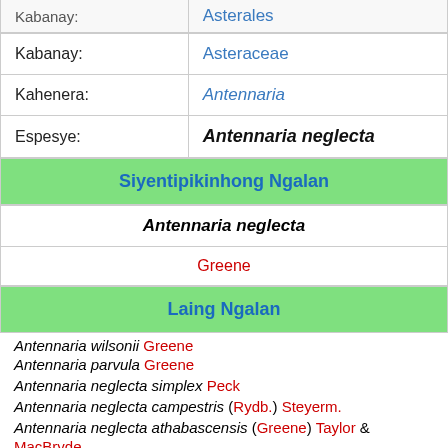| Kabanay: | Asteraceae |
| Kahenera: | Antennaria |
| Espesye: | Antennaria neglecta |
Siyentipikinhong Ngalan
Antennaria neglecta
Greene
Laing Ngalan
Antennaria wilsonii Greene
Antennaria parvula Greene
Antennaria neglecta simplex Peck
Antennaria neglecta campestris (Rydb.) Steyerm.
Antennaria neglecta athabascensis (Greene) Taylor &amp; MacBryde